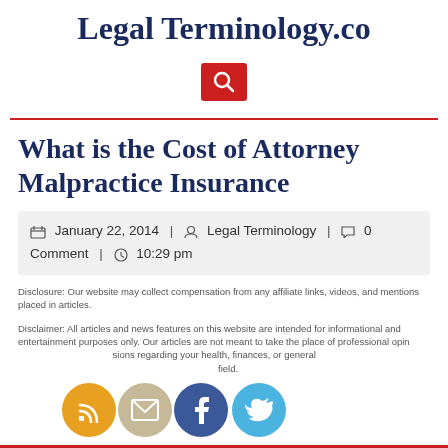Legal Terminology.co
[Figure (other): Red search button with magnifying glass icon]
What is the Cost of Attorney Malpractice Insurance
January 22, 2014 | Legal Terminology | 0 Comment | 10:29 pm
Disclosure: Our website may collect compensation from any affiliate links, videos, and mentions placed in articles.
Disclaimer: All articles and news features on this website are intended for informational and entertainment purposes only. Our articles are not meant to take the place of professional opinion, advice, or making decisions regarding your health, finances, or general field.
[Figure (other): Social media icons: RSS (orange), Email (beige), Facebook (blue), Twitter (light blue)]